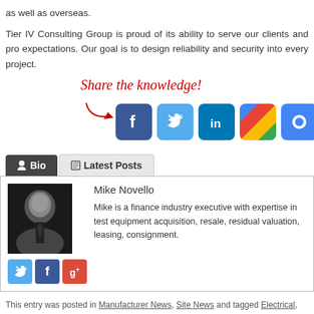as well as overseas.
Tier IV Consulting Group is proud of its ability to serve our clients and pro... expectations. Our goal is to design reliability and security into every project.
[Figure (infographic): Share the knowledge! text in red cursive with arrow pointing to social media icons: Facebook, Twitter, LinkedIn, Google+, Google, and another icon]
Bio | Latest Posts
[Figure (photo): Black and white headshot photo of Mike Novello, a man in a suit and tie]
Mike Novello
Mike is a finance industry executive with expertise in test equipment acquisition, resale, residual valuation, leasing, consignment.
This entry was posted in Manufacturer News, Site News and tagged Electrical, Fed... Way, Megger, Tier IV. Bookmark the permalink.